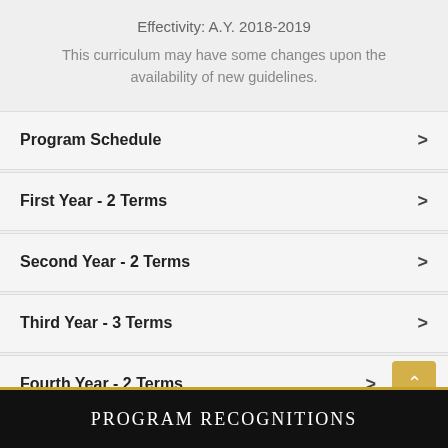Effectivity: A.Y. 2018-2019
This curriculum may have some changes upon the availability of new guidelines.
Program Schedule
First Year - 2 Terms
Second Year - 2 Terms
Third Year - 3 Terms
Fourth Year - 2 Terms
Program Recognitions